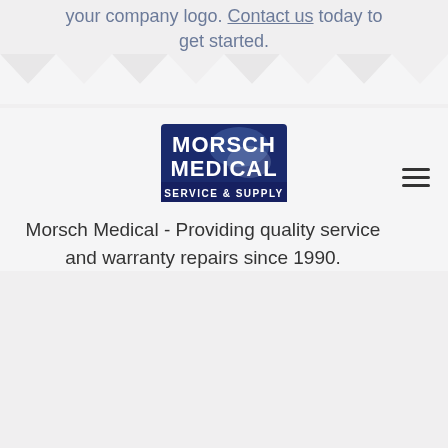your company logo. Contact us today to get started.
[Figure (illustration): Zigzag/chevron divider pattern separating two sections]
[Figure (logo): Morsch Medical Service & Supply company logo — dark navy background with white bold text]
Morsch Medical - Providing quality service and warranty repairs since 1990.